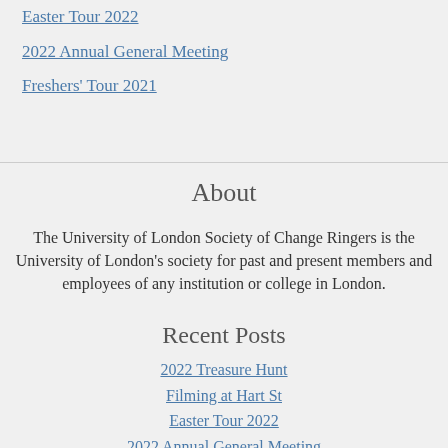Easter Tour 2022
2022 Annual General Meeting
Freshers' Tour 2021
About
The University of London Society of Change Ringers is the University of London's society for past and present members and employees of any institution or college in London.
Recent Posts
2022 Treasure Hunt
Filming at Hart St
Easter Tour 2022
2022 Annual General Meeting